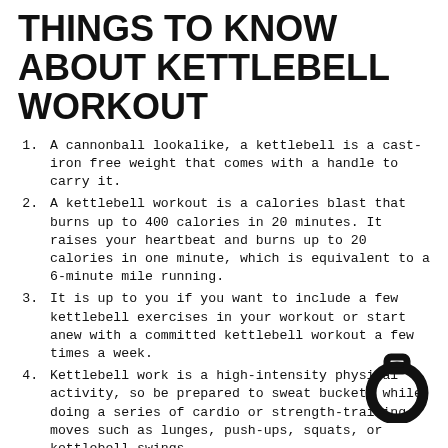THINGS TO KNOW ABOUT KETTLEBELL WORKOUT
A cannonball lookalike, a kettlebell is a cast-iron free weight that comes with a handle to carry it.
A kettlebell workout is a calories blast that burns up to 400 calories in 20 minutes. It raises your heartbeat and burns up to 20 calories in one minute, which is equivalent to a 6-minute mile running.
It is up to you if you want to include a few kettlebell exercises in your workout or start anew with a committed kettlebell workout a few times a week.
Kettlebell work is a high-intensity physical activity, so be prepared to sweat buckets while doing a series of cardio or strength-training moves such as lunges, push-ups, squats, or kettlebell swings.
Kettlebell exercises will improve the flexibility of your body.